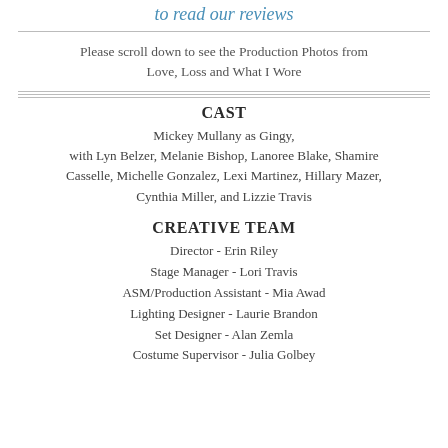to read our reviews
Please scroll down to see the Production Photos from Love, Loss and What I Wore
CAST
Mickey Mullany as Gingy, with Lyn Belzer, Melanie Bishop, Lanoree Blake, Shamire Casselle, Michelle Gonzalez, Lexi Martinez, Hillary Mazer, Cynthia Miller, and Lizzie Travis
CREATIVE TEAM
Director - Erin Riley
Stage Manager - Lori Travis
ASM/Production Assistant - Mia Awad
Lighting Designer - Laurie Brandon
Set Designer - Alan Zemla
Costume Supervisor - Julia Golbey